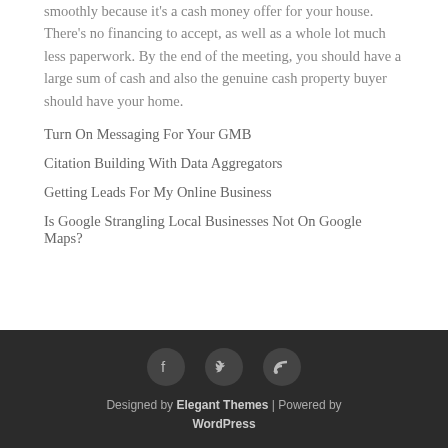smoothly because it's a cash money offer for your house. There's no financing to accept, as well as a whole lot much less paperwork. By the end of the meeting, you should have a large sum of cash and also the genuine cash property buyer should have your home.
Turn On Messaging For Your GMB
Citation Building With Data Aggregators
Getting Leads For My Online Business
Is Google Strangling Local Businesses Not On Google Maps?
Designed by Elegant Themes | Powered by WordPress